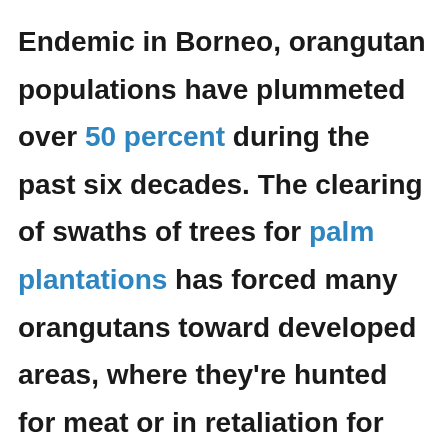Endemic in Borneo, orangutan populations have plummeted over 50 percent during the past six decades. The clearing of swaths of trees for palm plantations has forced many orangutans toward developed areas, where they're hunted for meat or in retaliation for destroying crops. When their mothers are caught (female orangutans are known to